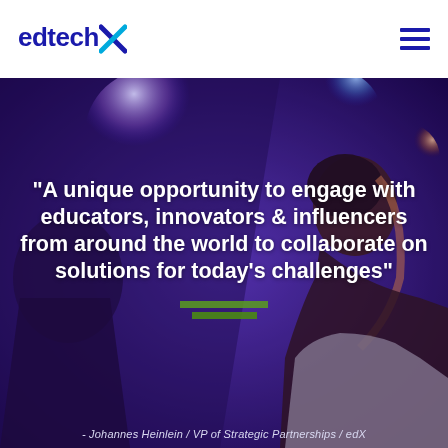[Figure (logo): edtechX logo in dark blue with stylized X letter]
[Figure (photo): Dark atmospheric photo of people at a conference or event, with purple and blue bokeh stage lights in the background. A man is visible in profile on the right side.]
"A unique opportunity to engage with educators, innovators & influencers from around the world to collaborate on solutions for today's challenges"
- Johannes Heinlein / VP of Strategic Partnerships / edX